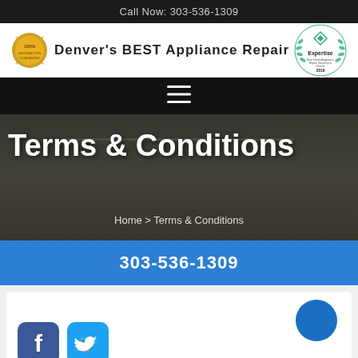Call Now: 303-536-1309
[Figure (logo): Denver's BEST Appliance Repair logo with gold seal and Expertise 2018 badge]
[Figure (infographic): Hamburger menu icon (three horizontal lines) on dark background]
Terms & Conditions
Home > Terms & Conditions
303-536-1309
[Figure (illustration): Facebook and Twitter social media icon buttons at bottom left, blue circle button at top right of white card]